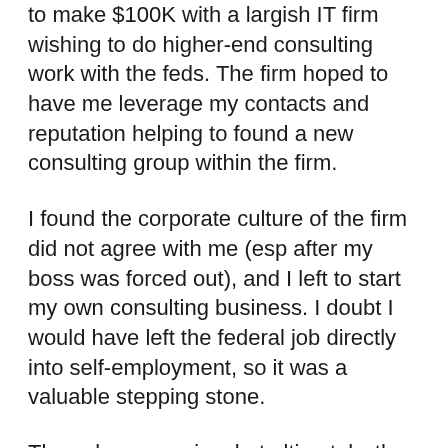to make $100K with a largish IT firm wishing to do higher-end consulting work with the feds. The firm hoped to have me leverage my contacts and reputation helping to found a new consulting group within the firm.
I found the corporate culture of the firm did not agree with me (esp after my boss was forced out), and I left to start my own consulting business. I doubt I would have left the federal job directly into self-employment, so it was a valuable stepping stone.
The salary was nice, but ultimately, the real benefit came from the realization that (1) diversification of the source of one’s “salary” or income is every bit as important in employment as it is in investing and (2) that the source of one’s value to an organization (skills, contacts,